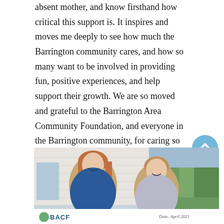absent mother, and know firsthand how critical this support is. It inspires and moves me deeply to see how much the Barrington community cares, and how so many want to be involved in providing fun, positive experiences, and help support their growth. We are so moved and grateful to the Barrington Area Community Foundation, and everyone in the Barrington community, for caring so much about the future of our kids who need us the most. It is such an amazing, generous, and supportive community.
[Figure (photo): Two women standing outdoors holding a sign for BACF (Barrington Area Community Foundation) dated April 2021. The woman on the left has long reddish-brown hair and is wearing a blue blazer. The woman on the right has short light brown hair and is wearing a patterned top. There are trees and a building visible in the background.]